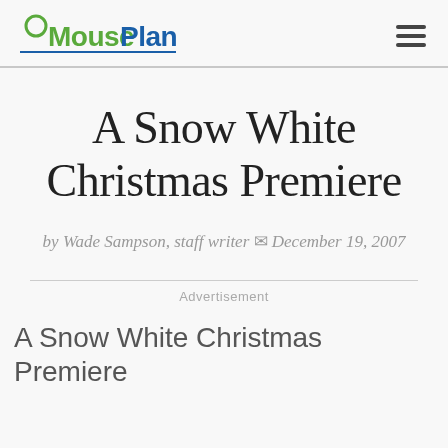MousePlanet
A Snow White Christmas Premiere
by Wade Sampson, staff writer ✉ December 19, 2007
Advertisement
A Snow White Christmas Premiere